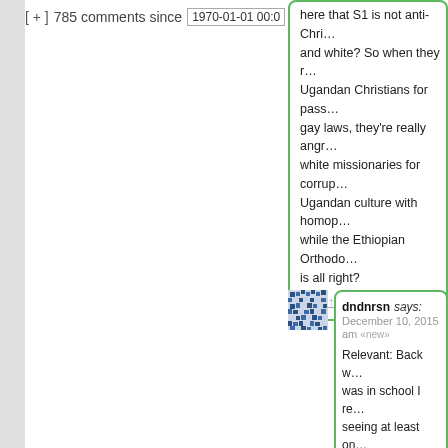[ + ] 785 comments since 1970-01-01 00:0
here that S1 is not anti-Chris... and white? So when they re... Ugandan Christians for passing anti-gay laws, they're really angr... white missionaries for corrupting Ugandan culture with homop... while the Ethiopian Orthodo... is all right?
Hide ↑
dndnrsn says: December 10, 2015 am «new»
Relevant: Back w... was in school I re... seeing at least on... in the most left-wi... student papers co...